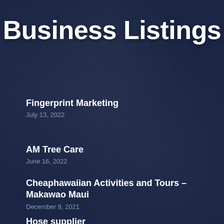Business Listings
Fingerprint Marketing
July 13, 2022
AM Tree Care
June 16, 2022
Cheaphawaiian Activities and Tours – Makawao Maui
December 9, 2021
Hose supplier